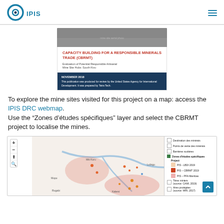IPIS logo and navigation menu
[Figure (screenshot): Thumbnail preview of CBRMT report cover: aerial mine site photo, title 'Capacity Building for a Responsible Minerals Trade (CBRMT)', subtitle 'Evaluation of Potential Responsible Artisanal Mine Site Hubs: South Kivu', date November 2018 on dark blue bar]
To explore the mine sites visited for this project on a map: access the IPIS DRC webmap. Use the “Zones d’études spécifiques” layer and select the CBRMT project to localise the mines.
[Figure (map): IPIS DRC webmap screenshot showing mine site locations in South Kivu with legend including: Destination des minérais, Points de vente des minérais, Barrières routières, Zones d’études spécifiques (Project: PIS-LBDI 2019, PIS-CBRMT 2019, PIS-PPA Mambasa), Titres miniers (source: CAMI, 2019), Aires protégées]